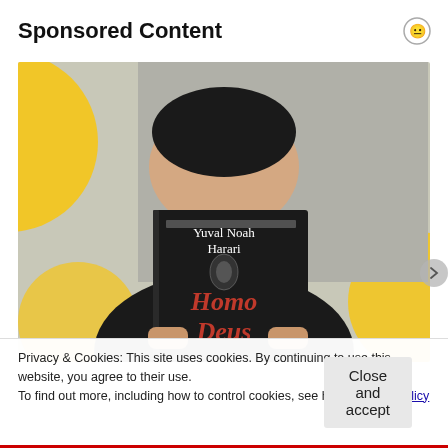Sponsored Content
[Figure (photo): Person holding a copy of 'Homo Deus' by Yuval Noah Harari in front of their face, with yellow decorative circles in the background]
Privacy & Cookies: This site uses cookies. By continuing to use this website, you agree to their use.
To find out more, including how to control cookies, see here: Cookie Policy
Close and accept